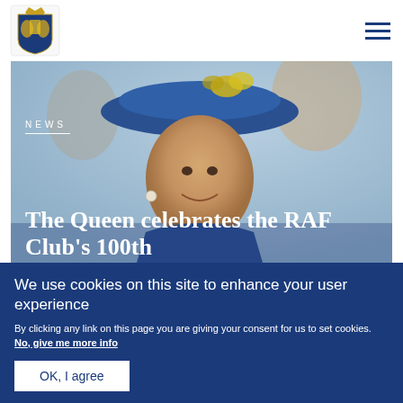Royal family website header with crest logo and navigation menu
[Figure (photo): Photo of Queen Elizabeth II wearing a blue hat, smiling, with other people in the background]
NEWS
The Queen celebrates the RAF Club's 100th
We use cookies on this site to enhance your user experience
By clicking any link on this page you are giving your consent for us to set cookies. No, give me more info
OK, I agree